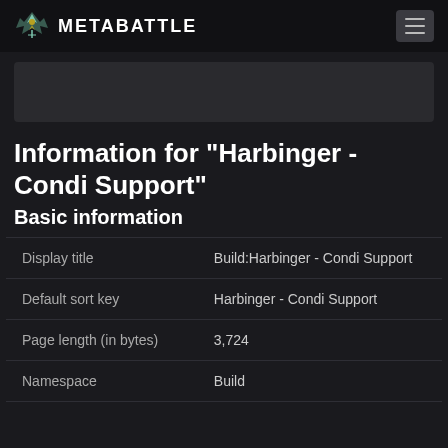METABATTLE
[Figure (illustration): MetaBattle logo — stylized wing/leaf emblem in teal and gold]
[Figure (screenshot): Banner/advertisement image placeholder (dark gray rectangle)]
Information for "Harbinger - Condi Support"
Basic information
| Display title | Build:Harbinger - Condi Support |
| Default sort key | Harbinger - Condi Support |
| Page length (in bytes) | 3,724 |
| Namespace | Build |